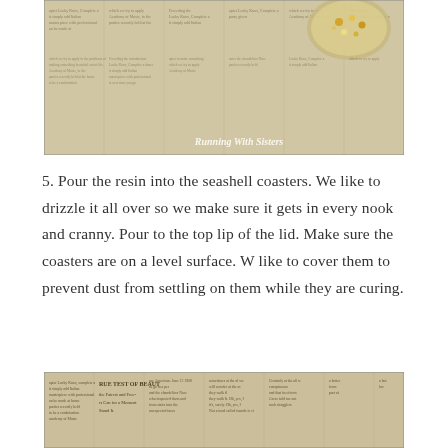[Figure (photo): Photo of newspaper pages laid flat as a surface, with a small bowl of gold and white decorative items visible in the upper right corner. Watermark 'Running With Sisters' in lower right.]
5. Pour the resin into the seashell coasters. We like to drizzle it all over so we make sure it gets in every nook and cranny. Pour to the top lip of the lid. Make sure the coasters are on a level surface. W like to cover them to prevent dust from settling on them while they are curing.
[Figure (photo): Photo of newspaper pages laid flat, showing columns of text including visible headline fragments such as 'RUE TEST OF BEAUT' and 'the Fairest and Free-' and 'Can for a Moment Stand It.']